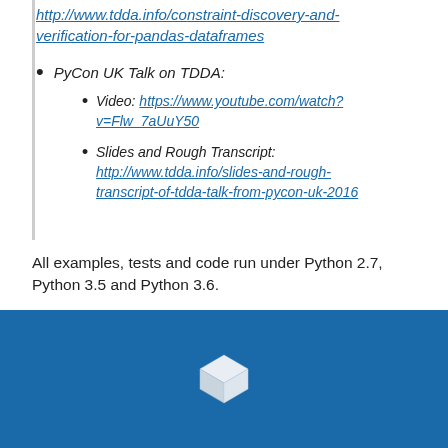http://www.tdda.info/constraint-discovery-and-verification-for-pandas-dataframes
PyCon UK Talk on TDDA:
Video: https://www.youtube.com/watch?v=Flw_7aUuY50
Slides and Rough Transcript: http://www.tdda.info/slides-and-rough-transcript-of-tdda-talk-from-pycon-uk-2016
All examples, tests and code run under Python 2.7, Python 3.5 and Python 3.6.
[Figure (logo): White cube logo on blue background at bottom of page]